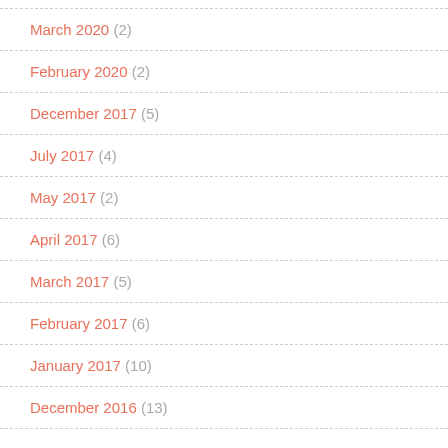March 2020 (2)
February 2020 (2)
December 2017 (5)
July 2017 (4)
May 2017 (2)
April 2017 (6)
March 2017 (5)
February 2017 (6)
January 2017 (10)
December 2016 (13)